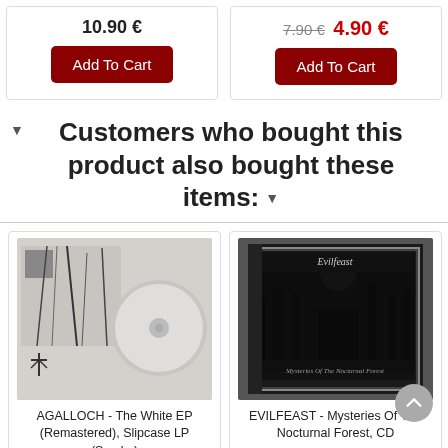10.90 €
7.90 € 4.90 €
Add To Cart
Add To Cart
Customers who bought this product also bought these items:
[Figure (photo): AGALLOCH - The White EP (Remastered), Slipcase LP (Smoke) - vinyl record with album art showing trees in winter]
[Figure (photo): EVILFEAST - Mysteries Of The Nocturnal Forest, CD - CD case with dark gothic forest artwork]
AGALLOCH - The White EP (Remastered), Slipcase LP (Smoke)
EVILFEAST - Mysteries Of The Nocturnal Forest, CD